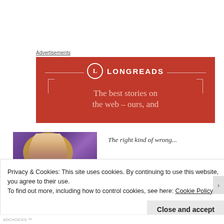Advertisements
[Figure (illustration): Longreads advertisement banner on red background with logo circle containing 'L', decorative bracket lines, and tagline 'The best stories on the web – ours, and']
[Figure (photo): Photo of a person with long blonde hair against a purple background]
The right kind of wrong...
Privacy & Cookies: This site uses cookies. By continuing to use this website, you agree to their use.
To find out more, including how to control cookies, see here: Cookie Policy
Close and accept